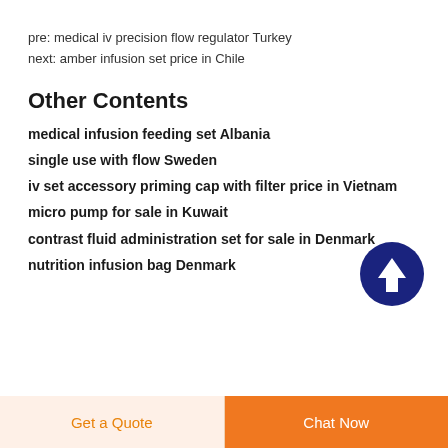pre: medical iv precision flow regulator Turkey
next: amber infusion set price in Chile
Other Contents
medical infusion feeding set Albania
single use with flow Sweden
iv set accessory priming cap with filter price in Vietnam
micro pump for sale in Kuwait
contrast fluid administration set for sale in Denmark
nutrition infusion bag Denmark
[Figure (illustration): Dark navy blue circular button with white upward arrow icon]
Get a Quote | Chat Now